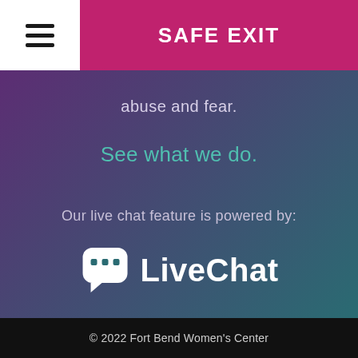SAFE EXIT
abuse and fear.
See what we do.
Our live chat feature is powered by:
[Figure (logo): LiveChat logo with speech bubble icon and text 'LiveChat' in white]
© 2022 Fort Bend Women's Center